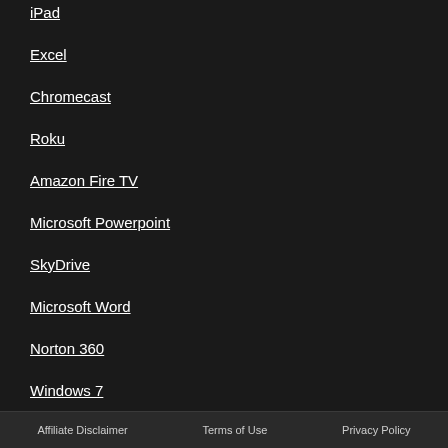iPad
Excel
Chromecast
Roku
Amazon Fire TV
Microsoft Powerpoint
SkyDrive
Microsoft Word
Norton 360
Windows 7
Windows Live Movie Maker
Affiliate Disclaimer   Terms of Use   Privacy Policy